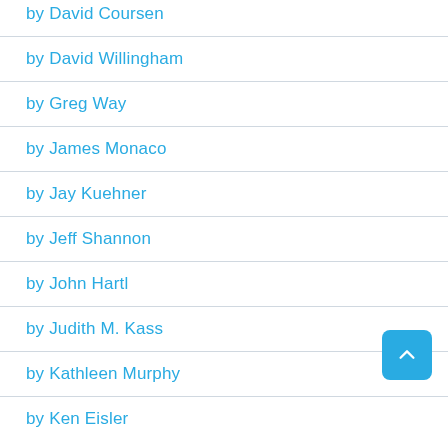by David Coursen
by David Willingham
by Greg Way
by James Monaco
by Jay Kuehner
by Jeff Shannon
by John Hartl
by Judith M. Kass
by Kathleen Murphy
by Ken Eisler